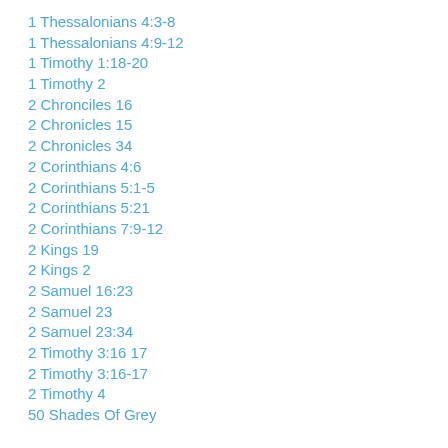1 Thessalonians 4:3-8
1 Thessalonians 4:9-12
1 Timothy 1:18-20
1 Timothy 2
2 Chronciles 16
2 Chronicles 15
2 Chronicles 34
2 Corinthians 4:6
2 Corinthians 5:1-5
2 Corinthians 5:21
2 Corinthians 7:9-12
2 Kings 19
2 Kings 2
2 Samuel 16:23
2 Samuel 23
2 Samuel 23:34
2 Timothy 3:16 17
2 Timothy 3:16-17
2 Timothy 4
50 Shades Of Grey